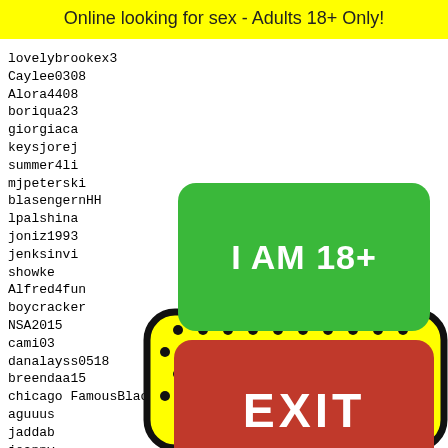Online looking for sex - Adults 18+ Only!
lovelybrookex3
Caylee0308
Alora4408
boriqua23
giorgiaca
keysjorej
summer4li
mjpeterski
blasengernHH
lpalshina
joniz1993
jenksinvi
showke
Alfred4fun
boycracker
NSA2015
cami03
danalayss0518
breendaa15
chicago FamousBlack
aguuus
jaddab
joannv
barnab
manhat
djprad
[Figure (other): Green button with text I AM 18+]
[Figure (other): Red button with text EXIT]
1827 1828 1829 1830 1831
[Figure (illustration): Yellow rounded rectangle with black dot pattern and cartoon face with bow tie at bottom of page]